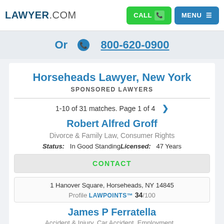LAWYER.COM  CALL  MENU
Or  800-620-0900
Horseheads Lawyer, New York
SPONSORED LAWYERS
1-10 of 31 matches. Page 1 of 4 >
Robert Alfred Groff
Divorce & Family Law, Consumer Rights
Status:  In Good Standing  Licensed:  47 Years
CONTACT
1 Hanover Square, Horseheads, NY 14845
Profile LAWPOINTS™ 34/100
James P Ferratella